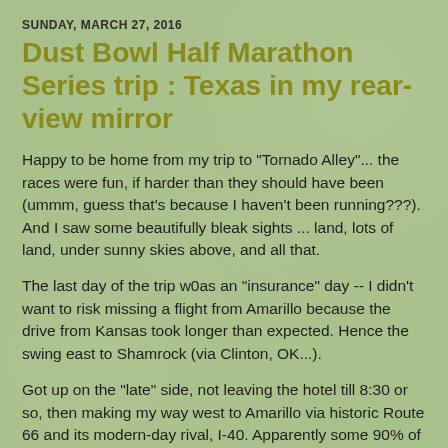SUNDAY, MARCH 27, 2016
Dust Bowl Half Marathon Series trip : Texas in my rear-view mirror
Happy to be home from my trip to "Tornado Alley"... the races were fun, if harder than they should have been (ummm, guess that's because I haven't been running???). And I saw some beautifully bleak sights ... land, lots of land, under sunny skies above, and all that.
The last day of the trip w0as an "insurance" day -- I didn't want to risk missing a flight from Amarillo because the drive from Kansas took longer than expected. Hence the swing east to Shamrock (via Clinton, OK...).
Got up on the "late" side, not leaving the hotel till 8:30 or so, then making my way west to Amarillo via historic Route 66 and its modern-day rival, I-40. Apparently some 90% of Texas's stretch of historic 66 is still drivable today ... it seems like most of the time it's a frontage road with some pretty